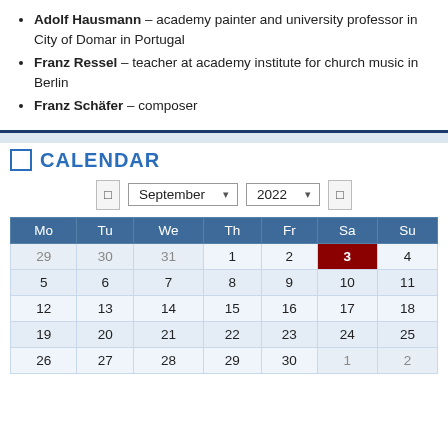Adolf Hausmann – academy painter and university professor in City of Domar in Portugal
Franz Ressel – teacher at academy institute for church music in Berlin
Franz Schäfer – composer
CALENDAR
[Figure (other): Calendar widget showing September 2022 with navigation controls and a grid of days Monday through Sunday. Day 3 (Saturday) is highlighted in dark red.]